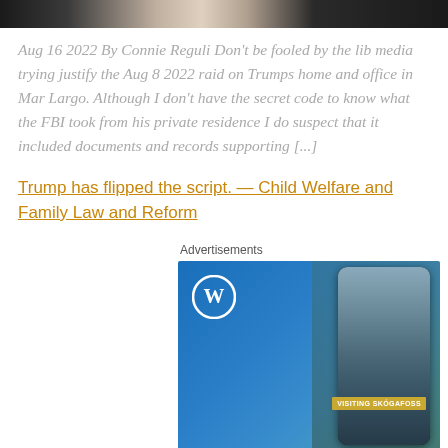[Figure (photo): Horizontal banner image strip showing people, partially cropped]
Aug 16 2022 By Connie Reguli Don't be fooled by the lib media trying justify the Aug 8 2022 raid on Trumps home and office in Mar Largo. Although I don't have the secret code to know what the FBI took from his private residence I do suspect that it included documents and records supporting [...]
Trump has flipped the script. — Child Welfare and Family Law and Reform
Advertisements
[Figure (other): WordPress advertisement banner showing WordPress logo, a phone with waterfall landscape labeled 'VISITING SKÓGAFOSS', and text 'Create immersive stories']